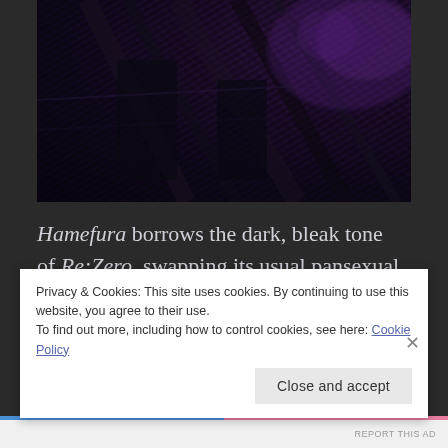[Figure (photo): Dark, moody screenshot from anime with purple and black tones, showing shadowy figures with dramatic lighting]
Hamefura borrows the dark, bleak tone of Re:Zero, swapping its usual pansexual harem desert gorging party and fake-snake R&D for a look back at
Privacy & Cookies: This site uses cookies. By continuing to use this website, you agree to their use.
To find out more, including how to control cookies, see here: Cookie Policy
Close and accept